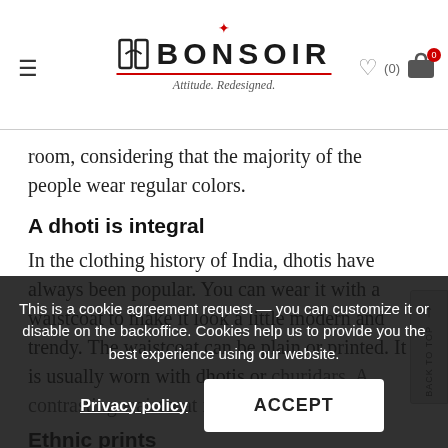[Figure (logo): Bonsoir brand logo with crown, stylized B icon, the text BONSOIR, and tagline 'Attitude. Redesigned.' in red underline]
room, considering that the majority of the people wear regular colors.
A dhoti is integral
In the clothing history of India, dhotis have always been popular. You can wear it with a waistcoat to make it look a little modern and trendy. The waistcoat can be plain or printed. It is usually worn with dhotis or churidars. A contrasting waistcoat is ideal for wedding...
Ethnic prints
A regular mens kurta with... in fashion this season. For d...
This is a cookie agreement request — you can customize it or disable on the backoffice. Cookies help us to provide you the best experience using our website.
Privacy policy
ACCEPT